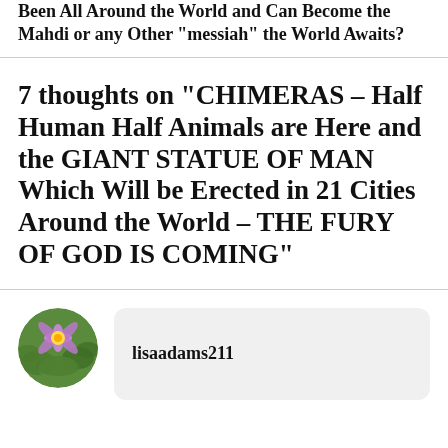Been All Around the World and Can Become the Mahdi or any Other “messiah” the World Awaits?
7 thoughts on “CHIMERAS – Half Human Half Animals are Here and the GIANT STATUE OF MAN Which Will be Erected in 21 Cities Around the World – THE FURY OF GOD IS COMING”
lisaadams211